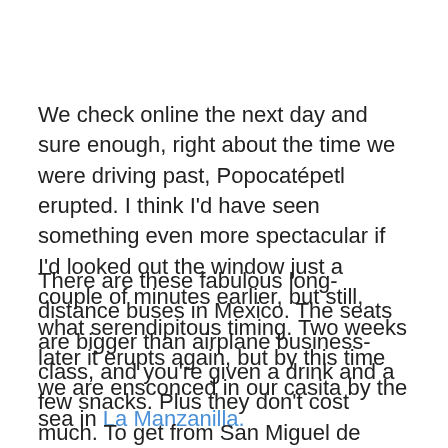We check online the next day and sure enough, right about the time we were driving past, Popocatépetl erupted. I think I'd have seen something even more spectacular if I'd looked out the window just a couple of minutes earlier, but still, what serendipitous timing. Two weeks later it erupts again, but by this time we are ensconced in our casita by the sea in La Manzanilla.
There are these fabulous long-distance buses in Mexico. The seats are bigger than airplane business-class, and you're given a drink and a few snacks. Plus they don't cost much. To get from San Miguel de Allende to La Manzanilla we travel first to Guadalajara, which takes about four hours. We wait at the bus station for a couple of hours